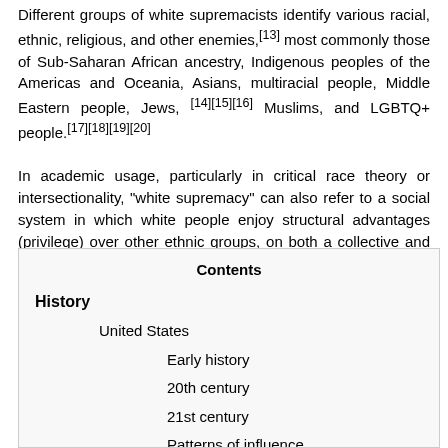Different groups of white supremacists identify various racial, ethnic, religious, and other enemies,[13] most commonly those of Sub-Saharan African ancestry, Indigenous peoples of the Americas and Oceania, Asians, multiracial people, Middle Eastern people, Jews,[14][15][16] Muslims, and LGBTQ+ people.[17][18][19][20]
In academic usage, particularly in critical race theory or intersectionality, "white supremacy" can also refer to a social system in which white people enjoy structural advantages (privilege) over other ethnic groups, on both a collective and individual level, despite formal legal equality.[21][22][23][24][25]
| Contents |
| --- |
| History |
| United States |
| Early history |
| 20th century |
| 21st century |
| Patterns of influence |
| Political violence |